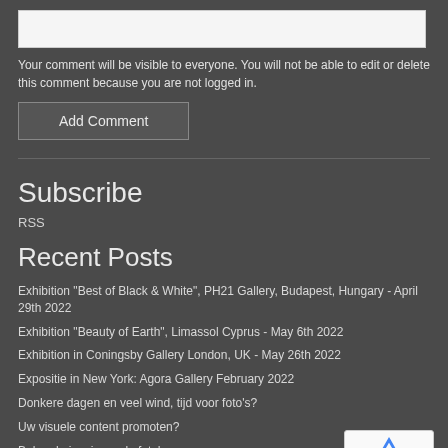[Figure (other): Comment input text box (empty, light grey background)]
Your comment will be visible to everyone. You will not be able to edit or delete this comment because you are not logged in.
Add Comment
Subscribe
RSS
Recent Posts
Exhibition "Best of Black & White", PH21 Gallery, Budapest, Hungary - April 29th 2022
Exhibition "Beauty of Earth", Limassol Cyprus - May 6th 2022
Exhibition in Coningsby Gallery London, UK - May 26th 2022
Expositie in New York: Agora Gallery February 2022
Donkere dagen en veel wind, tijd voor foto's?
Uw visuele content promoten?
Bekende inspirerende foto's
Kiezen tussen kleur of vorm in een beeld?